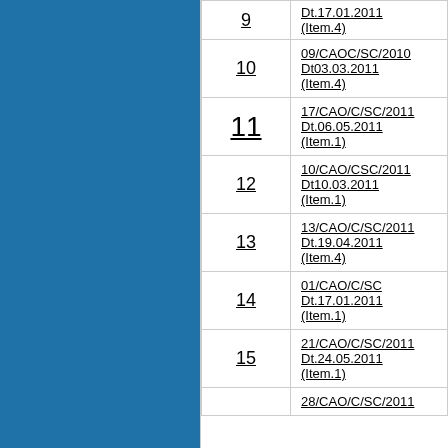| No. | Reference |
| --- | --- |
| 9 | Dt.17.01.2011
(Item.4) |
| 10 | 09/CAOC/SC/2010
Dt03.03.2011
(Item.4) |
| 11 | 17/CAO/C/SC/2011
Dt.06.05.2011
(Item.1) |
| 12 | 10/CAO/CSC/2011
Dt10.03.2011
(Item.1) |
| 13 | 13/CAO/C/SC/2011
Dt.19.04.2011
(Item.4) |
| 14 | 01/CAO/C/SC
Dt.17.01.2011
(Item.1) |
| 15 | 21/CAO/C/SC/2011
Dt.24.05.2011
(Item.1) |
| 16 | 28/CAO/C/SC/2011 |